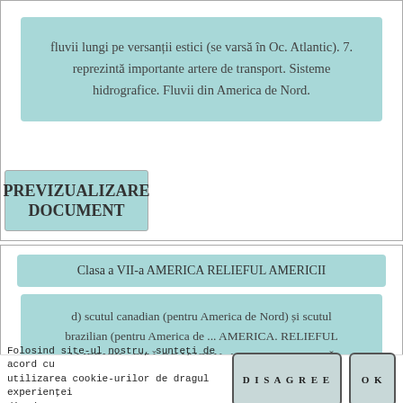fluvii lungi pe versanții estici (se varsă în Oc. Atlantic). 7. reprezintă importante artere de transport. Sisteme hidrografice. Fluvii din America de Nord.
PREVIZUALIZARE DOCUMENT
Clasa a VII-a AMERICA RELIEFUL AMERICII
d) scutul canadian (pentru America de Nord) și scutul brazilian (pentru America de ... AMERICA. RELIEFUL AMERICII - FIȘĂ DE LUCRU. AMERICA – HARTĂ FIZICĂ.
Folosind site-ul nostru, sunteți de acord cu utilizarea cookie-urilor de dragul experienței din dreaptan.